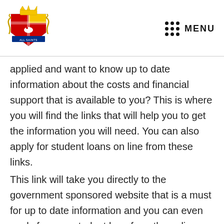[Figure (logo): All Saints school crest/logo with crown, shield, dove, and decorative elements in red, blue, yellow and gold]
MENU
applied and want to know up to date information about the costs and financial support that is available to you? This is where you will find the links that will help you to get the information you will need. You can also apply for student loans on line from these links.
This link will take you directly to the government sponsored website that is a must for up to date information and you can even apply for your student loan from the online link